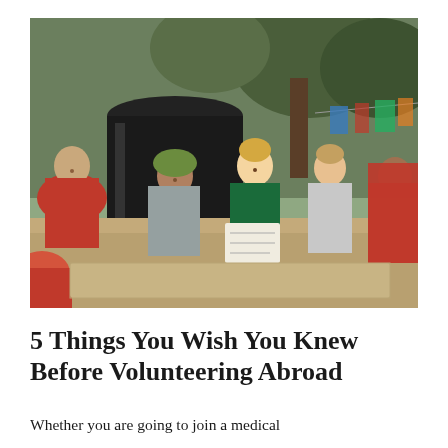[Figure (photo): Group of people sitting together outdoors on the ground, smiling and looking at papers. Includes local women in red saris and volunteers, with a large black water tank and trees with laundry hanging in the background.]
5 Things You Wish You Knew Before Volunteering Abroad
Whether you are going to join a medical